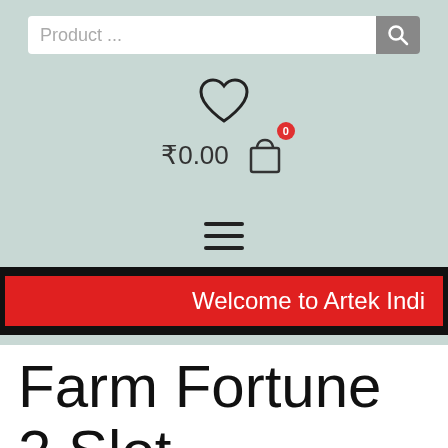[Figure (screenshot): Search input bar with placeholder text 'Product ...' and a grey search button with magnifying glass icon]
[Figure (illustration): Heart/wishlist icon (outline) centered on teal background]
₹0.00
[Figure (illustration): Shopping bag cart icon with red badge showing '0']
[Figure (illustration): Hamburger menu icon (three horizontal lines)]
Welcome to Artek Indi
Farm Fortune 2 Slot